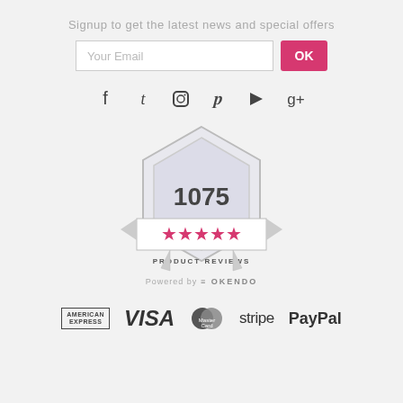Signup to get the latest news and special offers
[Figure (infographic): Email signup form with text input labeled 'Your Email' and a pink OK button]
[Figure (infographic): Social media icons: Facebook, Twitter, Instagram, Pinterest, YouTube, Google+]
[Figure (infographic): Badge showing 1075 five-star product reviews, powered by Okendo]
[Figure (infographic): Payment method logos: American Express, VISA, MasterCard, stripe, PayPal]